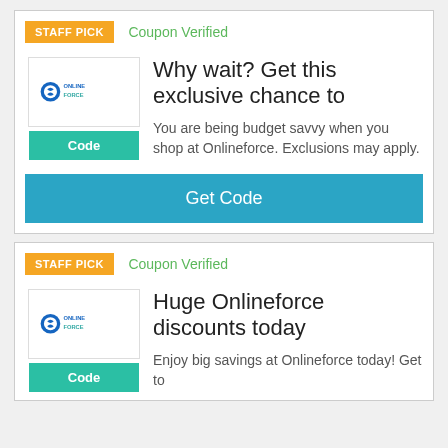[Figure (infographic): Coupon card 1 with STAFF PICK badge, Coupon Verified label, OnlineForce logo, Code button, deal title, description, and Get Code button]
[Figure (infographic): Coupon card 2 with STAFF PICK badge, Coupon Verified label, OnlineForce logo, Code button, and deal title and description]